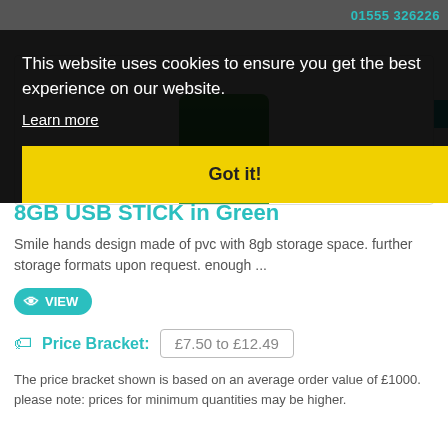01555 326226
This website uses cookies to ensure you get the best experience on our website.
Learn more
Got it!
8GB USB STICK in Green
Smile hands design made of pvc with 8gb storage space. further storage formats upon request. enough ...
VIEW
Price Bracket:  £7.50 to £12.49
The price bracket shown is based on an average order value of £1000. please note: prices for minimum quantities may be higher.